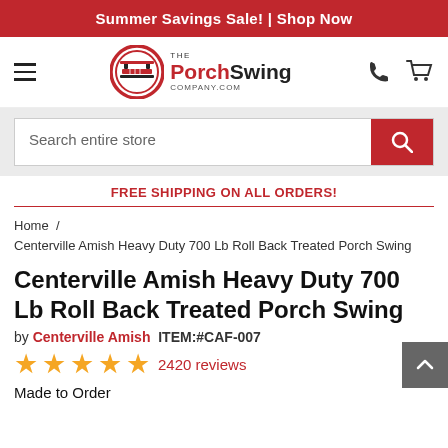Summer Savings Sale! | Shop Now
[Figure (logo): The Porch Swing Company.com logo with hamburger menu, phone and cart icons]
Search entire store
FREE SHIPPING ON ALL ORDERS!
Home / Centerville Amish Heavy Duty 700 Lb Roll Back Treated Porch Swing
Centerville Amish Heavy Duty 700 Lb Roll Back Treated Porch Swing
by Centerville Amish   ITEM:#CAF-007
★★★★★ 2420 reviews
Made to Order